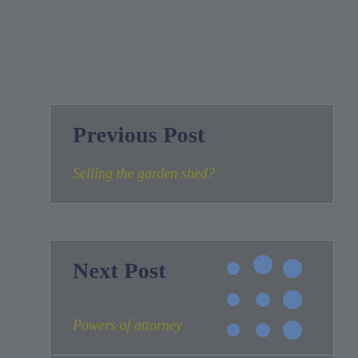Previous Post
Selling the garden shed?
Next Post
[Figure (other): Decorative dot grid pattern in blue, 3x3 arrangement of circles]
Powers of attorney